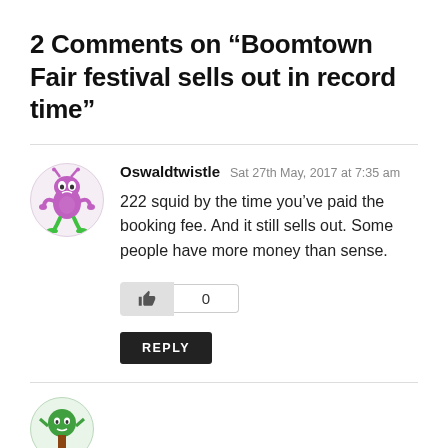2 Comments on “Boomtown Fair festival sells out in record time”
Oswaldtwistle  Sat 27th May, 2017 at 7:35 am
222 squid by the time you’ve paid the booking fee. And it still sells out. Some people have more money than sense.